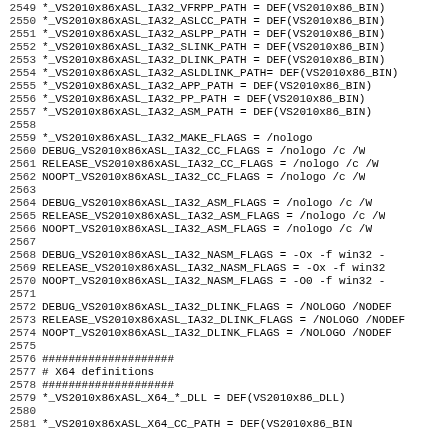Code listing lines 2549-2581, makefile/build configuration variables for VS2010x86xASL_IA32 and VS2010x86xASL_X64 toolchain paths and flags
2549 *_VS2010x86xASL_IA32_VFRPP_PATH    = DEF(VS2010x86_BIN)
2550 *_VS2010x86xASL_IA32_ASLCC_PATH    = DEF(VS2010x86_BIN)
2551 *_VS2010x86xASL_IA32_ASLPP_PATH    = DEF(VS2010x86_BIN)
2552 *_VS2010x86xASL_IA32_SLINK_PATH    = DEF(VS2010x86_BIN)
2553 *_VS2010x86xASL_IA32_DLINK_PATH    = DEF(VS2010x86_BIN)
2554 *_VS2010x86xASL_IA32_ASLDLINK_PATH= DEF(VS2010x86_BIN)
2555 *_VS2010x86xASL_IA32_APP_PATH      = DEF(VS2010x86_BIN)
2556 *_VS2010x86xASL_IA32_PP_PATH       = DEF(VS2010x86_BIN)
2557 *_VS2010x86xASL_IA32_ASM_PATH      = DEF(VS2010x86_BIN)
2558
2559       *_VS2010x86xASL_IA32_MAKE_FLAGS = /nologo
2560   DEBUG_VS2010x86xASL_IA32_CC_FLAGS    = /nologo /c /W
2561 RELEASE_VS2010x86xASL_IA32_CC_FLAGS    = /nologo /c /W
2562 NOOPT_VS2010x86xASL_IA32_CC_FLAGS      = /nologo /c /W
2563
2564   DEBUG_VS2010x86xASL_IA32_ASM_FLAGS   = /nologo /c /W
2565 RELEASE_VS2010x86xASL_IA32_ASM_FLAGS   = /nologo /c /W
2566 NOOPT_VS2010x86xASL_IA32_ASM_FLAGS     = /nologo /c /W
2567
2568   DEBUG_VS2010x86xASL_IA32_NASM_FLAGS  = -Ox -f win32 -
2569 RELEASE_VS2010x86xASL_IA32_NASM_FLAGS  = -Ox -f win32
2570 NOOPT_VS2010x86xASL_IA32_NASM_FLAGS    = -O0 -f win32 -
2571
2572   DEBUG_VS2010x86xASL_IA32_DLINK_FLAGS = /NOLOGO /NODEF
2573 RELEASE_VS2010x86xASL_IA32_DLINK_FLAGS = /NOLOGO /NODEF
2574 NOOPT_VS2010x86xASL_IA32_DLINK_FLAGS   = /NOLOGO /NODEF
2575
2576 ####################
2577 # X64 definitions
2578 ####################
2579 *_VS2010x86xASL_X64_*_DLL           = DEF(VS2010x86_DLL)
2580
2581 *_VS2010x86xASL_X64_CC_PATH         = DEF(VS2010x86_BIN)